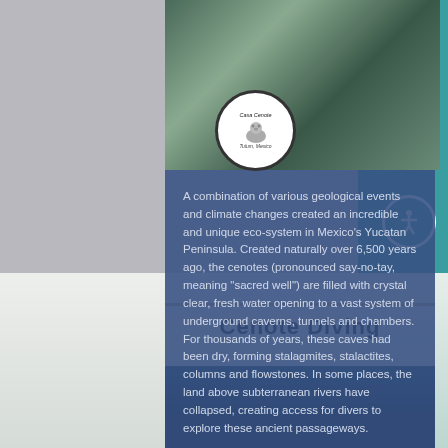[Figure (photo): Aerial or top-down view of a cenote or water feature with wooden structures, with Casa Cenote logo overlaid as a circular badge]
A combination of various geological events and climate changes created an incredible and unique eco-system in Mexico's Yucatan Peninsula. Created naturally over 6,500 years ago, the cenotes (pronounced say-no-tay, meaning "sacred well") are filled with crystal clear, fresh water opening to a vast system of underground caverns, tunnels and chambers. For thousands of years, these caves had been dry, forming stalagmites, stalactites, columns and flowstones. In some places, the land above subterranean rivers have collapsed, creating access for divers to explore these ancient passageways.
Cenote Diving
[Figure (photo): Underwater photo of a cenote showing blue cave interior with light filtering through from above]